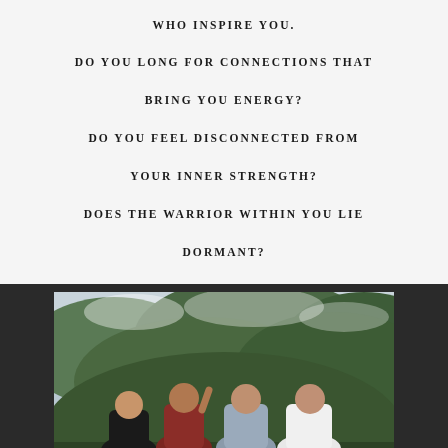WHO INSPIRE YOU. DO YOU LONG FOR CONNECTIONS THAT BRING YOU ENERGY? DO YOU FEEL DISCONNECTED FROM YOUR INNER STRENGTH? DOES THE WARRIOR WITHIN YOU LIE DORMANT?
[Figure (photo): Four young men sitting side by side on a green hillside, viewed from behind, looking out over a mountainous landscape with clouds in the distance.]
When you are with them...